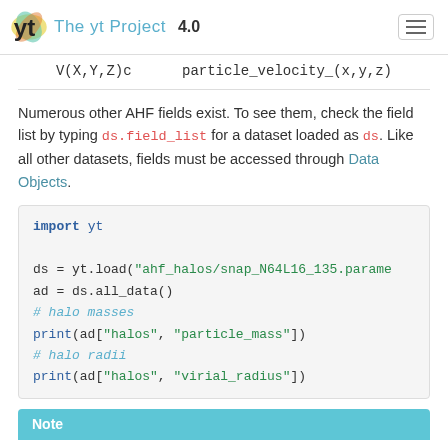The yt Project 4.0
| V(X,Y,Z)c | particle_velocity_(x,y,z) |
Numerous other AHF fields exist. To see them, check the field list by typing ds.field_list for a dataset loaded as ds. Like all other datasets, fields must be accessed through Data Objects.
import yt

ds = yt.load("ahf_halos/snap_N64L16_135.param..."
ad = ds.all_data()
# halo masses
print(ad["halos", "particle_mass"])
# halo radii
print(ad["halos", "virial_radius"])
Note